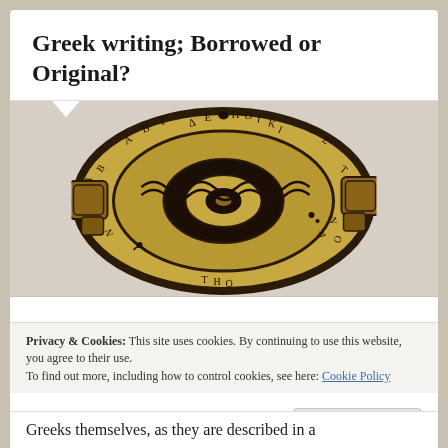Greek writing; Borrowed or Original?
[Figure (photo): Bottom view of an ancient Greek pottery vessel (kylix or similar) with early Greek alphabet letters inscribed around the rim and decorative patterns]
Privacy & Cookies: This site uses cookies. By continuing to use this website, you agree to their use.
To find out more, including how to control cookies, see here: Cookie Policy
Close and accept
Greeks themselves, as they are described in a